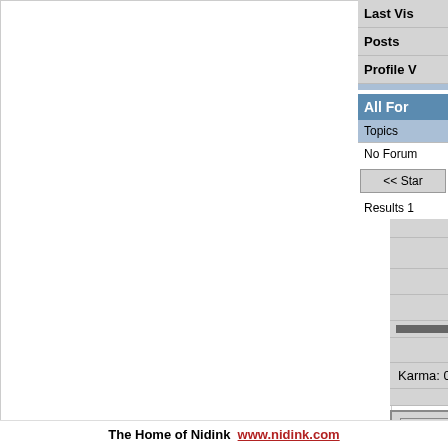[Figure (photo): Black and white photo of a child sitting on the ground, partially cropped at top]
Fresh Boarder
[Figure (other): Five gold/yellow star rating icons in a row]
Profile View: 119
Posts: 0
OFFLINE
Karma: 0
Last Vis
Posts
Profile V
All For
Topics
No Forum
<< Star
Results 1
P
Board Categories
The Home of Nidink  www.nidink.com